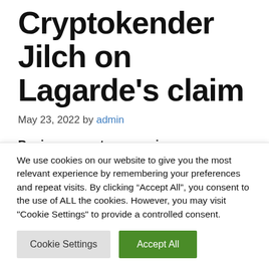Cryptokender Jilch on Lagarde's claim
May 23, 2022 by admin
Business cryptocurrencies
We use cookies on our website to give you the most relevant experience by remembering your preferences and repeat visits. By clicking “Accept All”, you consent to the use of ALL the cookies. However, you may visit "Cookie Settings" to provide a controlled consent.